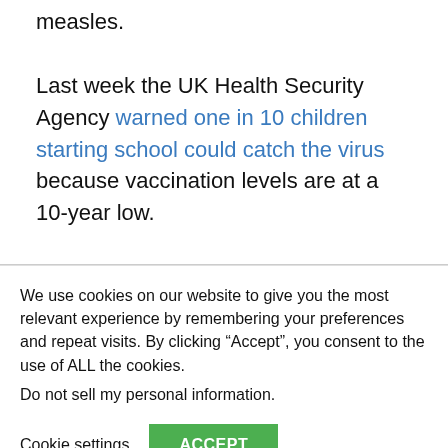measles.

Last week the UK Health Security Agency warned one in 10 children starting school could catch the virus because vaccination levels are at a 10-year low.

Experts warned the super-contagious
We use cookies on our website to give you the most relevant experience by remembering your preferences and repeat visits. By clicking “Accept”, you consent to the use of ALL the cookies.
Do not sell my personal information.
Cookie settings  ACCEPT